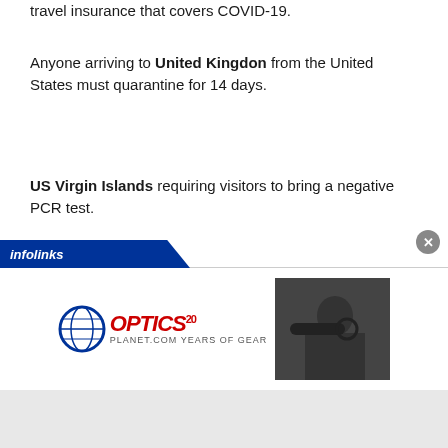travel insurance that covers COVID-19.
Anyone arriving to United Kingdon from the United States must quarantine for 14 days.
US Virgin Islands requiring visitors to bring a negative PCR test.
We advise readers to check with local authorities before booking a trip, as rules continuously change.
[Figure (other): Infolinks advertisement banner featuring OpticsPlanet logo (globe icon, OPTICS text, 20 Years of Gear) alongside a photo of a person using a scope/binoculars. A close button (x) appears in the upper right corner of the ad.]